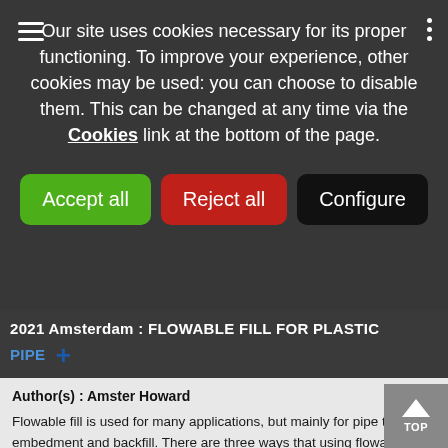Our site uses cookies necessary for its proper functioning. To improve your experience, other cookies may be used: you can choose to disable them. This can be changed at any time via the Cookies link at the bottom of the page.
[Figure (screenshot): Cookie consent banner with three buttons: Accept all (green), Reject all (red), Configure (black)]
2021 Amsterdam : FLOWABLE FILL FOR PLASTIC PIPE +
Author(s) : Amster Howard
Flowable fill is used for many applications, but mainly for pipe trench embedment and backfill. There are three ways that using flowable fill can be kind to the environment. Because flowable fill is self-leveling and has a strength greater than the native soil, the trench cross section can be minimized. This means...